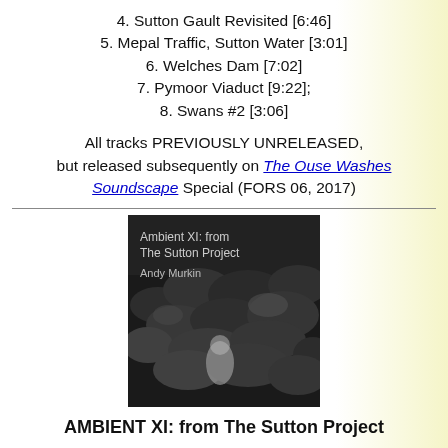4. Sutton Gault Revisited [6:46]
5. Mepal Traffic, Sutton Water [3:01]
6. Welches Dam [7:02]
7. Pymoor Viaduct [9:22];
8. Swans #2 [3:06]
All tracks PREVIOUSLY UNRELEASED, but released subsequently on The Ouse Washes Soundscape Special (FORS 06, 2017)
[Figure (photo): Album cover for 'Ambient XI: from The Sutton Project' by Andy Murkin. Black and white photo of a person among dense foliage/plants with album title and artist name overlaid in light grey text.]
AMBIENT XI: from The Sutton Project